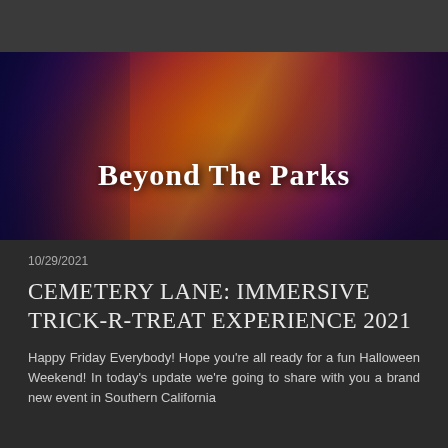[Figure (photo): Colorful Halloween/Day of the Dead themed image featuring a skeleton figure in elaborate costume with vivid orange, purple, green and red background decorations. Text overlay reads 'Beyond The Parks'.]
Beyond The Parks
10/29/2021
CEMETERY LANE: IMMERSIVE TRICK-R-TREAT EXPERIENCE 2021
Happy Friday Everybody! Hope you're all ready for a fun Halloween Weekend! In today's update we're going to share with you a brand new event in Southern California